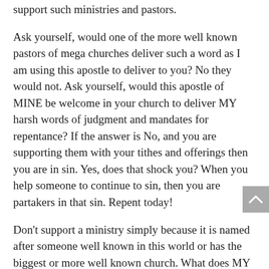support such ministries and pastors.

Ask yourself, would one of the more well known pastors of mega churches deliver such a word as I am using this apostle to deliver to you? No they would not. Ask yourself, would this apostle of MINE be welcome in your church to deliver MY harsh words of judgment and mandates for repentance? If the answer is No, and you are supporting them with your tithes and offerings then you are in sin. Yes, does that shock you? When you help someone to continue to sin, then you are partakers in that sin. Repent today!

Don't support a ministry simply because it is named after someone well known in this world or has the biggest or more well known church. What does MY Word say about if all men love you and love the things in the world, does this make you MINE? Does all mankind love and receive YAHUSHUA? No! For when